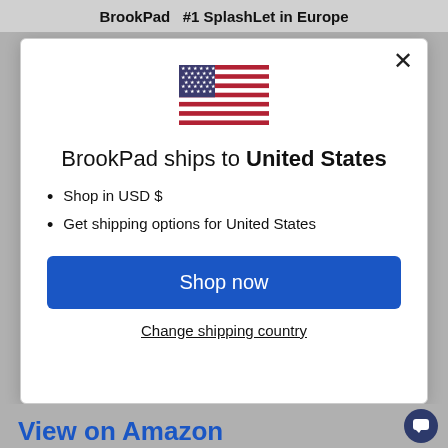BrookPad   #1 SplashLet in Europe
[Figure (illustration): US flag emoji/icon centered in modal]
BrookPad ships to United States
Shop in USD $
Get shipping options for United States
Shop now
Change shipping country
View on Amazon